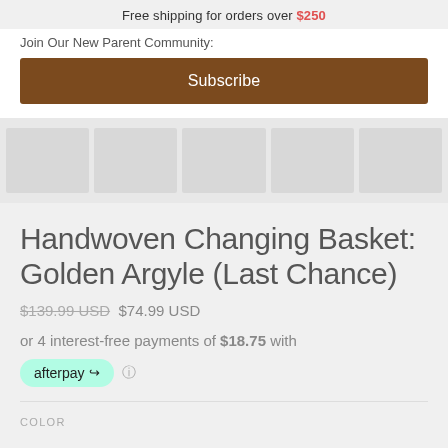Free shipping for orders over $250
Join Our New Parent Community:
Subscribe
[Figure (other): Row of 5 greyed-out product thumbnail placeholders]
Handwoven Changing Basket: Golden Argyle (Last Chance)
$139.99 USD  $74.99 USD
or 4 interest-free payments of $18.75 with
[Figure (logo): Afterpay logo badge in mint green]
COLOR